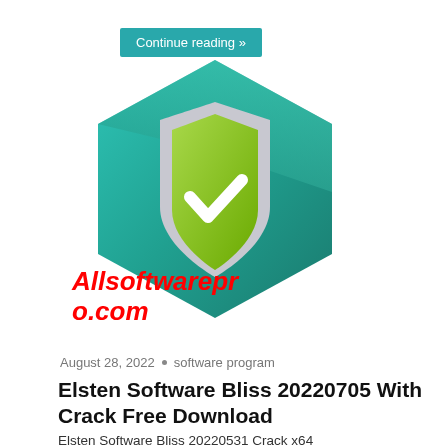Continue reading »
[Figure (logo): Kaspersky-style hexagonal security shield logo with teal/green gradient hexagon background and a silver shield containing a green checkmark. Red italic watermark text 'Allsoftwarepr o.com' overlaid on the logo.]
August 28, 2022 • software program
Elsten Software Bliss 20220705 With Crack Free Download
Elsten Software Bliss 20220531 Crack x64